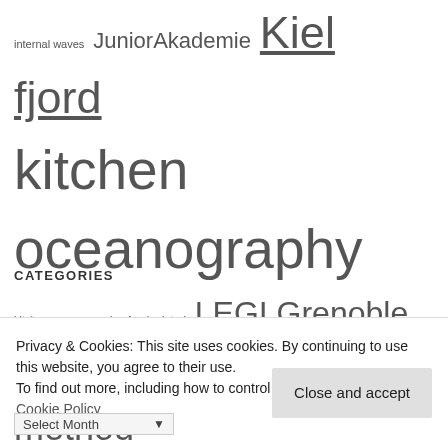internal waves JuniorAkademie Kiel fjord kitchen oceanography kitchen oceanography: food related LEGI Grenoble literature melting ice cubes experiment method oceanography reflection refraction research cruise rotating tank rotation salinity ship-generated waves stratification tank experiment teaching temperature wake waves wave watching wind wind-generated waves
CATEGORIES
Privacy & Cookies: This site uses cookies. By continuing to use this website, you agree to their use. To find out more, including how to control cookies, see here: Cookie Policy
Close and accept
Select Month